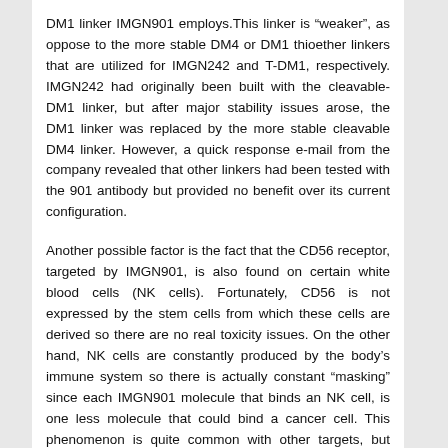DM1 linker IMGN901 employs.This linker is “weaker”, as oppose to the more stable DM4 or DM1 thioether linkers that are utilized for IMGN242 and T-DM1, respectively. IMGN242 had originally been built with the cleavable-DM1 linker, but after major stability issues arose, the DM1 linker was replaced by the more stable cleavable DM4 linker. However, a quick response e-mail from the company revealed that other linkers had been tested with the 901 antibody but provided no benefit over its current configuration.
Another possible factor is the fact that the CD56 receptor, targeted by IMGN901, is also found on certain white blood cells (NK cells). Fortunately, CD56 is not expressed by the stem cells from which these cells are derived so there are no real toxicity issues. On the other hand, NK cells are constantly produced by the body's immune system so there is actually constant “masking” since each IMGN901 molecule that binds an NK cell, is one less molecule that could bind a cancer cell. This phenomenon is quite common with other targets, but perhaps it is more